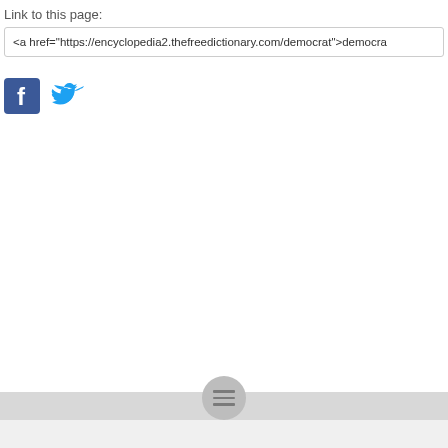Link to this page:
<a href="https://encyclopedia2.thefreedictionary.com/democrat">democra
[Figure (logo): Facebook logo icon (blue square with white F) and Twitter logo icon (blue bird)]